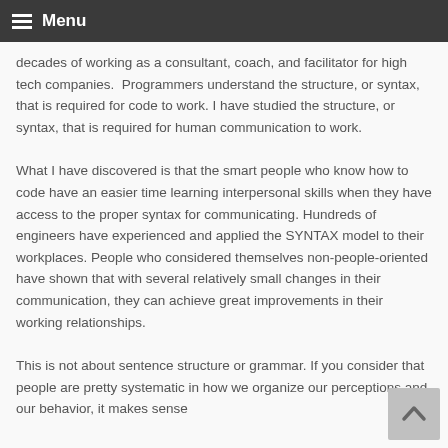Menu
decades of working as a consultant, coach, and facilitator for high tech companies.  Programmers understand the structure, or syntax, that is required for code to work. I have studied the structure, or syntax, that is required for human communication to work.
What I have discovered is that the smart people who know how to code have an easier time learning interpersonal skills when they have access to the proper syntax for communicating. Hundreds of engineers have experienced and applied the SYNTAX model to their workplaces. People who considered themselves non-people-oriented have shown that with several relatively small changes in their communication, they can achieve great improvements in their working relationships.
This is not about sentence structure or grammar. If you consider that people are pretty systematic in how we organize our perceptions and our behavior, it makes sense that...